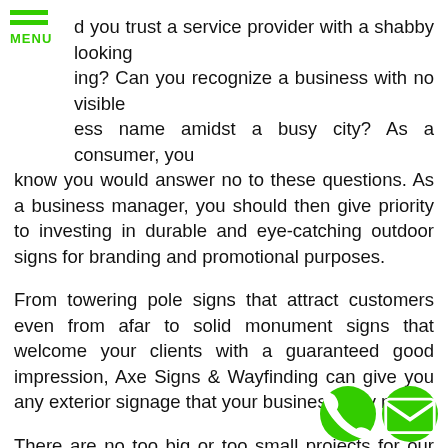[Figure (other): Green hamburger menu icon with three horizontal bars and MENU label below]
d you trust a service provider with a shabby looking ing? Can you recognize a business with no visible ess name amidst a busy city? As a consumer, you know you would answer no to these questions. As a business manager, you should then give priority to investing in durable and eye-catching outdoor signs for branding and promotional purposes.
From towering pole signs that attract customers even from afar to solid monument signs that welcome your clients with a guaranteed good impression, Axe Signs & Wayfinding can give you any exterior signage that your business may need.
There are no too big or too small projects for our team to handle. Whether you want a signage collection or an individual signage element to adorn your storefront, our signage experts will help you choose which one is best for you.
Among your outdoor sign choices are the ng
[Figure (other): Two circular green buttons at bottom right: a phone icon and an email/envelope icon]